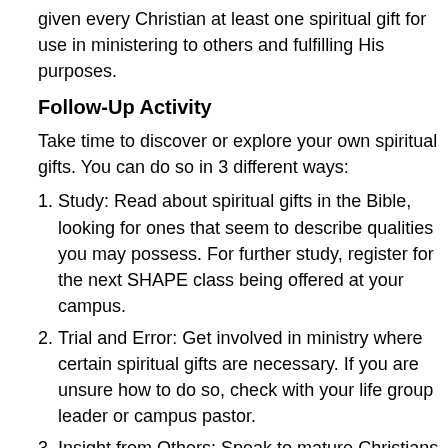given every Christian at least one spiritual gift for use in ministering to others and fulfilling His purposes.
Follow-Up Activity
Take time to discover or explore your own spiritual gifts. You can do so in 3 different ways:
Study: Read about spiritual gifts in the Bible, looking for ones that seem to describe qualities you may possess. For further study, register for the next SHAPE class being offered at your campus.
Trial and Error: Get involved in ministry where certain spiritual gifts are necessary. If you are unsure how to do so, check with your life group leader or campus pastor.
Insight from Others: Speak to mature Christians you trust about which traits of specific Spiritual Gifts they